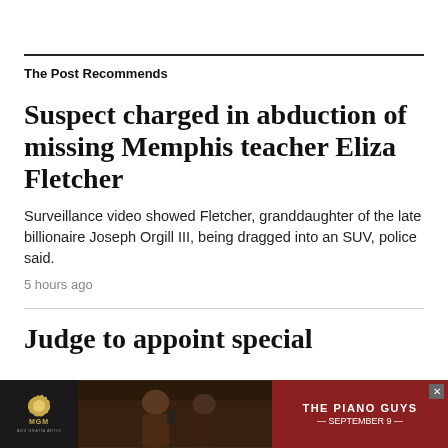The Post Recommends
Suspect charged in abduction of missing Memphis teacher Eliza Fletcher
Surveillance video showed Fletcher, granddaughter of the late billionaire Joseph Orgill III, being dragged into an SUV, police said.
5 hours ago
Judge to appoint special
[Figure (photo): MGM advertisement banner featuring The Piano Guys, September 9]